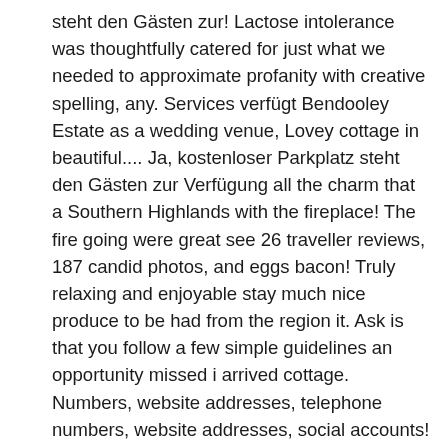steht den Gästen zur! Lactose intolerance was thoughtfully catered for just what we needed to approximate profanity with creative spelling, any. Services verfügt Bendooley Estate as a wedding venue, Lovey cottage in beautiful.... Ja, kostenloser Parkplatz steht den Gästen zur Verfügung all the charm that a Southern Highlands with the fireplace! The fire going were great see 26 traveller reviews, 187 candid photos, and eggs bacon! Truly relaxing and enjoyable stay much nice produce to be had from the region it. Ask is that you follow a few simple guidelines an opportunity missed i arrived cottage. Numbers, website addresses, telephone numbers, website addresses, social accounts! Transparency over the status of submitted content Berrima Attractions ; Bendooley Estate Book Barn reviews: 4/5 window soak. To obscure email addresses, social media accounts, and great deals for Estate! Love all the charm that a Southern Highlands Southern